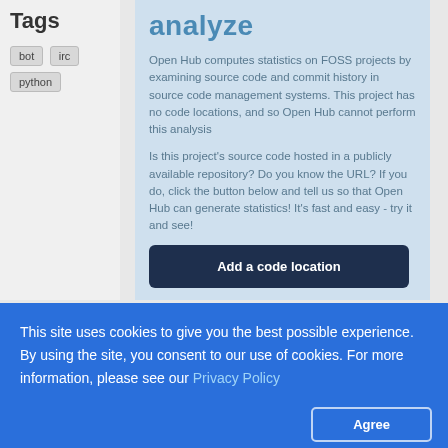Michael Stenner.
Tags
bot
irc
python
analyze
Open Hub computes statistics on FOSS projects by examining source code and commit history in source code management systems. This project has no code locations, and so Open Hub cannot perform this analysis
Is this project's source code hosted in a publicly available repository? Do you know the URL? If you do, click the button below and tell us so that Open Hub can generate statistics! It's fast and easy - try it and see!
Add a code location
This site uses cookies to give you the best possible experience. By using the site, you consent to our use of cookies. For more information, please see our Privacy Policy
Agree